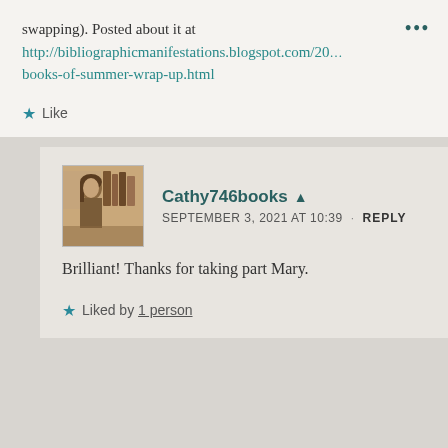swapping). Posted about it at http://bibliographicmanifestations.blogspot.com/20... books-of-summer-wrap-up.html
Like
Cathy746books
SEPTEMBER 3, 2021 AT 10:39 · REPLY
Brilliant! Thanks for taking part Mary.
Liked by 1 person